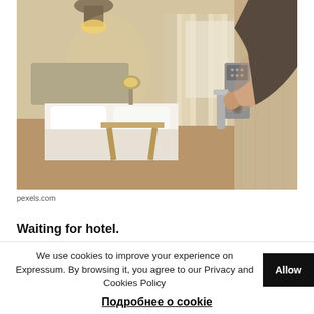[Figure (photo): A person's hand holding a hotel room door handle with an electronic keycard lock. The door is wooden/light-colored. In the background, a blurred hotel room with a bed, table, chairs, and warm lighting is visible.]
pexels.com
Waiting for hotel.
We use cookies to improve your experience on Expressum. By browsing it, you agree to our Privacy and Cookies Policy
Подробнее о cookie